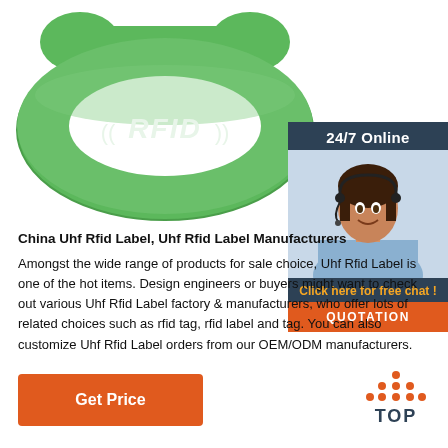[Figure (photo): Green RFID silicone wristband with ((RFID)) text embossed on it, photographed on white background]
[Figure (infographic): 24/7 Online chat widget showing a female customer service agent with headset, with 'Click here for free chat!' text and 'QUOTATION' orange button]
China Uhf Rfid Label, Uhf Rfid Label Manufacturers
Amongst the wide range of products for sale choice, Uhf Rfid Label is one of the hot items. Design engineers or buyers might want to check out various Uhf Rfid Label factory & manufacturers, who offer lots of related choices such as rfid tag, rfid label and tag. You can also customize Uhf Rfid Label orders from our OEM/ODM manufacturers.
[Figure (illustration): Orange dotted triangle arrow pointing up with 'TOP' text below in dark blue, acting as a back-to-top button]
Get Price